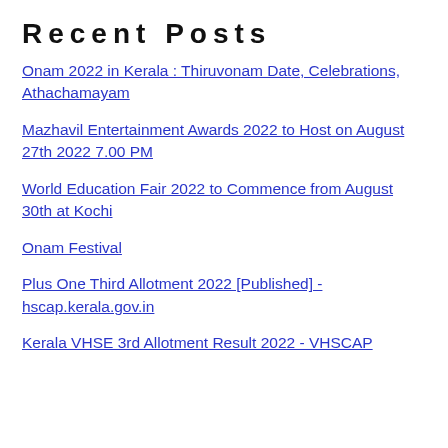Recent Posts
Onam 2022 in Kerala : Thiruvonam Date, Celebrations, Athachamayam
Mazhavil Entertainment Awards 2022 to Host on August 27th 2022 7.00 PM
World Education Fair 2022 to Commence from August 30th at Kochi
Onam Festival
Plus One Third Allotment 2022 [Published] - hscap.kerala.gov.in
Kerala VHSE 3rd Allotment Result 2022 - VHSCAP